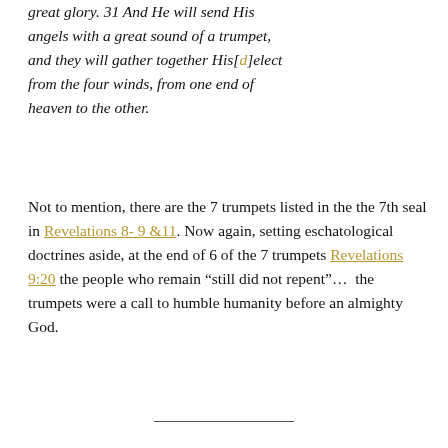great glory. 31 And He will send His angels with a great sound of a trumpet, and they will gather together His[d]elect from the four winds, from one end of heaven to the other.
Not to mention, there are the 7 trumpets listed in the the 7th seal in Revelations 8-9 &11. Now again, setting eschatological doctrines aside, at the end of 6 of the 7 trumpets Revelations 9:20 the people who remain “still did not repent”…  the trumpets were a call to humble humanity before an almighty God.